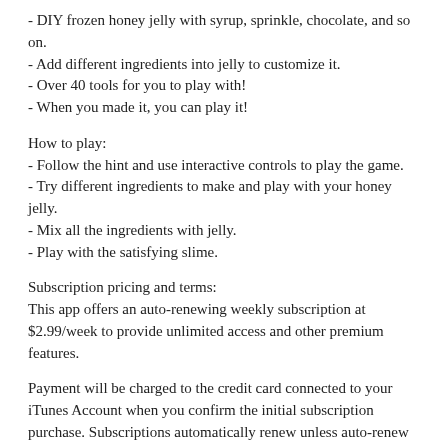- DIY frozen honey jelly with syrup, sprinkle, chocolate, and so on.
- Add different ingredients into jelly to customize it.
- Over 40 tools for you to play with!
- When you made it, you can play it!
How to play:
- Follow the hint and use interactive controls to play the game.
- Try different ingredients to make and play with your honey jelly.
- Mix all the ingredients with jelly.
- Play with the satisfying slime.
Subscription pricing and terms:
This app offers an auto-renewing weekly subscription at $2.99/week to provide unlimited access and other premium features.
Payment will be charged to the credit card connected to your iTunes Account when you confirm the initial subscription purchase. Subscriptions automatically renew unless auto-renew is turned off at least 24-hours before the end of the current subscription period. Your account will be charged for renewal within 24-hours prior to the end of the current period, and the cost of the renewal will be identified. You may manage your subscription and auto-renewal may be turned off by going to your Account Settings after the purchase. Any unused